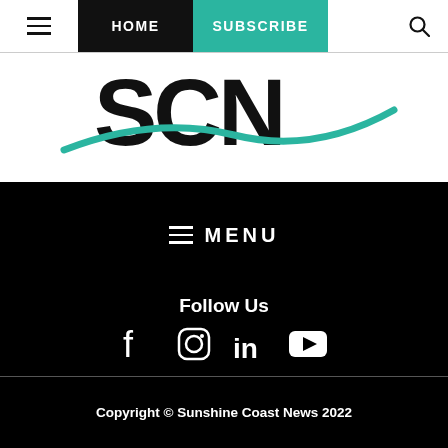HOME | SUBSCRIBE
[Figure (logo): SCN Sunshine Coast News logo with large bold letters SCN and a teal swoosh/wave graphic underneath]
≡ MENU
Follow Us
[Figure (infographic): Social media icons: Facebook, Instagram, LinkedIn, YouTube]
Copyright © Sunshine Coast News 2022